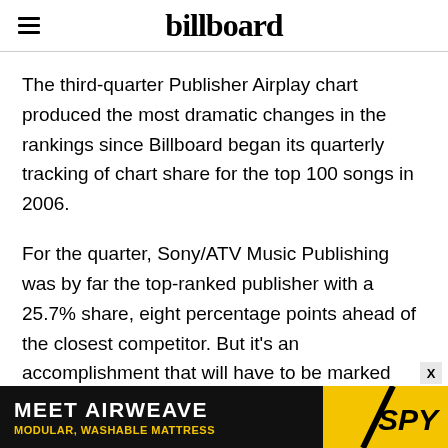billboard
The third-quarter Publisher Airplay chart produced the most dramatic changes in the rankings since Billboard began its quarterly tracking of chart share for the top 100 songs in 2006.
For the quarter, Sony/ATV Music Publishing was by far the top-ranked publisher with a 25.7% share, eight percentage points ahead of the closest competitor. But it’s an accomplishment that will have to be marked with an asterisk: Sony/ATV has vaulted to the top because it now serves as the administrator for EMI Music
[Figure (other): Advertisement banner: MEET AIRWEAVE / MODULAR, WASHABLE MATTRESS with SPY logo on yellow background]